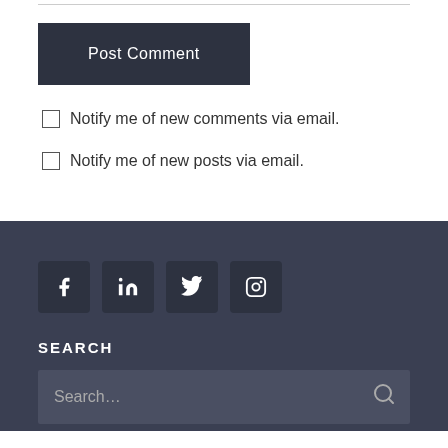Post Comment
Notify me of new comments via email.
Notify me of new posts via email.
SEARCH
Search...